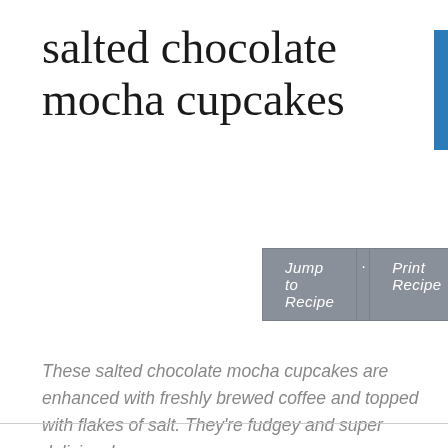salted chocolate mocha cupcakes
Jump to Recipe · Print Recipe
These salted chocolate mocha cupcakes are enhanced with freshly brewed coffee and topped with flakes of salt. They're fudgey and super delicious!